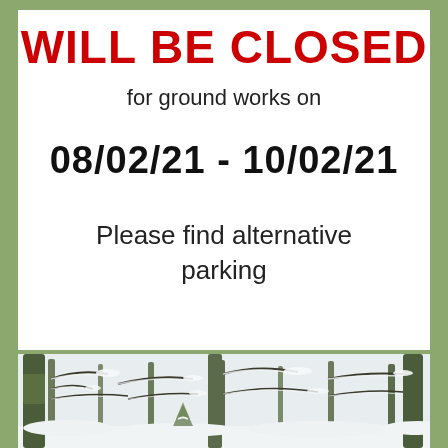WILL BE CLOSED
for ground works on
08/02/21 - 10/02/21
Please find alternative parking
[Figure (photo): Winter forest scene with snow-covered trees and bare branches]